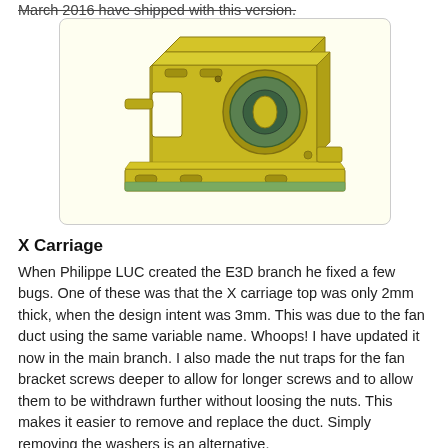March 2016 have shipped with this version.
[Figure (illustration): 3D CAD render of a yellow/gold X carriage component for a 3D printer, showing a bracket with mounting holes and a circular bearing cutout, rendered against a light yellow background.]
X Carriage
When Philippe LUC created the E3D branch he fixed a few bugs. One of these was that the X carriage top was only 2mm thick, when the design intent was 3mm. This was due to the fan duct using the same variable name. Whoops! I have updated it now in the main branch. I also made the nut traps for the fan bracket screws deeper to allow for longer screws and to allow them to be withdrawn further without loosing the nuts. This makes it easier to remove and replace the duct. Simply removing the washers is an alternative.